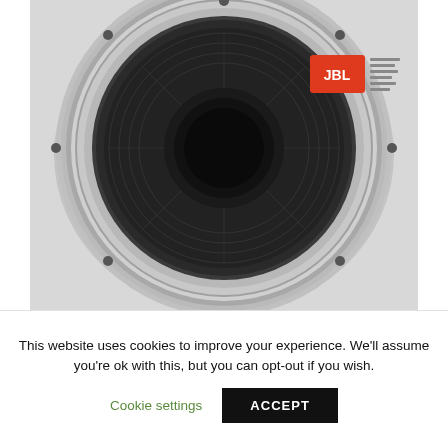[Figure (photo): Back of a JBL speaker driver/woofer, circular shape, silver metal frame with visible mounting holes, black mesh cone, orange JBL label visible]
| Author: | Nele Vudolmaran |
| Country: | Togo |
| Language: | English (Spanish) |
| Genre: | Education |
| Published (Last): | 6 October 2007 |
This website uses cookies to improve your experience. We'll assume you're ok with this, but you can opt-out if you wish.
Cookie settings    ACCEPT